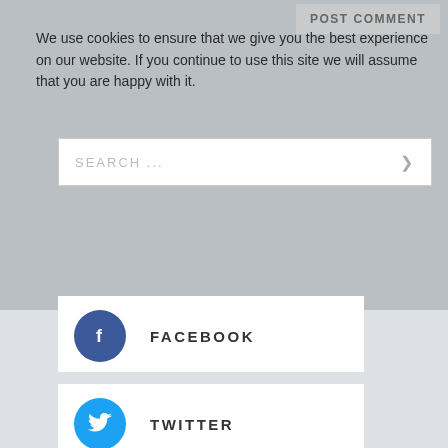POST COMMENT
We use cookies to ensure that we give you the best experience on our website. If you continue to use this site we will assume that you are happy with it.
SEARCH ...
FACEBOOK
TWITTER
GET THE APP